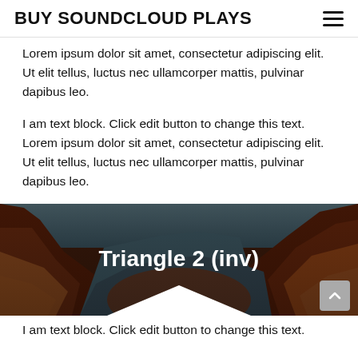BUY SOUNDCLOUD PLAYS
Lorem ipsum dolor sit amet, consectetur adipiscing elit. Ut elit tellus, luctus nec ullamcorper mattis, pulvinar dapibus leo.
I am text block. Click edit button to change this text. Lorem ipsum dolor sit amet, consectetur adipiscing elit. Ut elit tellus, luctus nec ullamcorper mattis, pulvinar dapibus leo.
[Figure (photo): Background photo of canyon rock formations with warm orange and brown tones, with white text overlay reading 'Triangle 2 (inv)' and a downward-pointing white triangle at the bottom center, and a grey scroll-to-top button at the bottom right.]
I am text block. Click edit button to change this text.